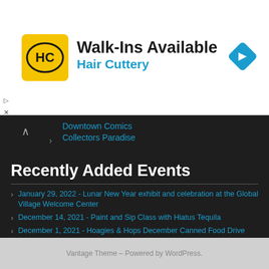[Figure (logo): Hair Cuttery advertisement banner with HC logo, Walk-Ins Available text, and navigation arrow icon]
Downtown Comics
Collectors Paradise
Recently Added Events
January 29, 2022 - Lunar New Year exhibit and celebration at the Global Village Welcome Center
December 14, 2021 - Paint and Sip Class with Hiatus Tequila
December 1, 2021 - Hoagies & Hops December Canned Food Drive
December 4, 2021 - Holiday Bazaar & World of Trees Expo
October 24, 2021 - Savor the International Marketplace
Vantage Theme – Powered by WordPress.